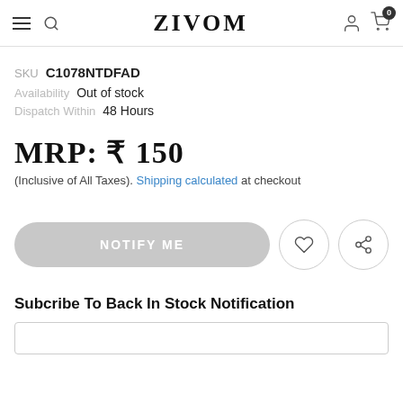ZIVOM
SKU  C1078NTDFAD
Availability  Out of stock
Dispatch Within  48 Hours
MRP: ₹ 150
(Inclusive of All Taxes). Shipping calculated at checkout
NOTIFY ME
Subcribe To Back In Stock Notification